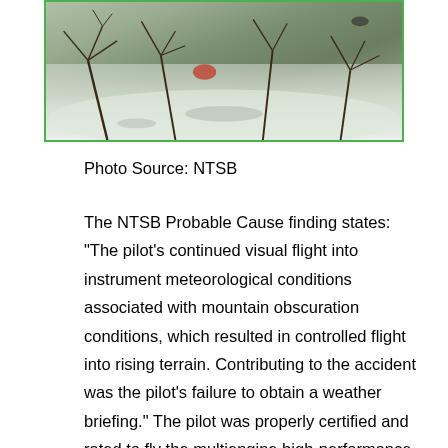[Figure (photo): Aerial or ground-level photo of aircraft wreckage in snow-covered terrain with bare tree branches visible, bordered with green outline. Photo source: NTSB.]
Photo Source: NTSB
The NTSB Probable Cause finding states: "The pilot’s continued visual flight into instrument meteorological conditions associated with mountain obscuration conditions, which resulted in controlled flight into rising terrain. Contributing to the accident was the pilot’s failure to obtain a weather briefing." The pilot was properly certified and rated to fly the multiengine high-performance airplane. He held a Commercial Pilot Certificate with Multiengine Land